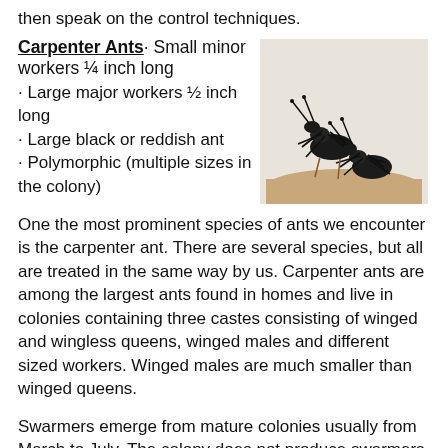then speak on the control techniques.
Carpenter Ants
Small minor workers ¼ inch long
· Large major workers ½ inch long
· Large black or reddish ant
· Polymorphic (multiple sizes in the colony)
[Figure (photo): Close-up photo of two large black carpenter ants on a light brown surface]
One the most prominent species of ants we encounter is the carpenter ant. There are several species, but all are treated in the same way by us. Carpenter ants are among the largest ants found in homes and live in colonies containing three castes consisting of winged and wingless queens, winged males and different sized workers. Winged males are much smaller than winged queens.
Swarmers emerge from mature colonies usually from March to July. The colony does not produce swarmers until about three years later. A mature colony, after three to six years, has 2,000 to 4,000 individuals. Workers regurgitate food for nourishment of the developing larvae and queen.